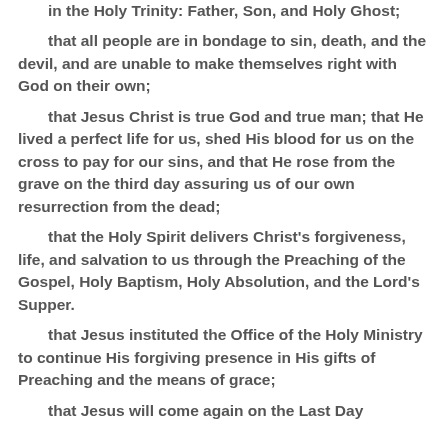in the Holy Trinity: Father, Son, and Holy Ghost;
that all people are in bondage to sin, death, and the devil, and are unable to make themselves right with God on their own;
that Jesus Christ is true God and true man; that He lived a perfect life for us, shed His blood for us on the cross to pay for our sins, and that He rose from the grave on the third day assuring us of our own resurrection from the dead;
that the Holy Spirit delivers Christ's forgiveness, life, and salvation to us through the Preaching of the Gospel, Holy Baptism, Holy Absolution, and the Lord's Supper.
that Jesus instituted the Office of the Holy Ministry to continue His forgiving presence in His gifts of Preaching and the means of grace;
that Jesus will come again on the Last Day...